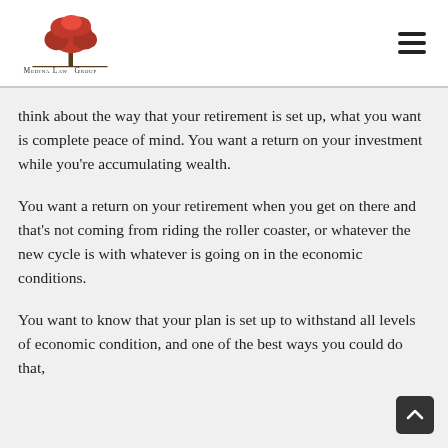[Figure (logo): Medina Law Group logo with red tree and text]
think about the way that your retirement is set up, what you want is complete peace of mind. You want a return on your investment while you're accumulating wealth.
You want a return on your retirement when you get on there and that's not coming from riding the roller coaster, or whatever the new cycle is with whatever is going on in the economic conditions.
You want to know that your plan is set up to withstand all levels of economic condition, and one of the best ways you could do that,